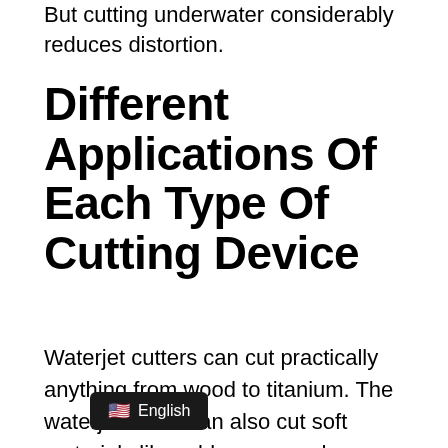But cutting underwater considerably reduces distortion.
Different Applications Of Each Type Of Cutting Device
Waterjet cutters can cut practically anything from wood to titanium. The waterjet cutter can also cut soft materials like rubber or wood. Abrasives are often used to augment their capability of cutting stronger materials like steel and aluminum.